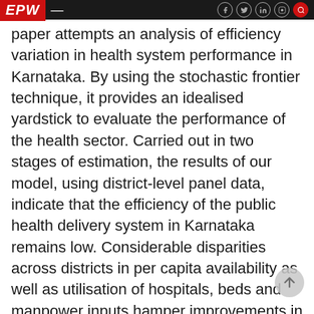EPW
paper attempts an analysis of efficiency variation in health system performance in Karnataka. By using the stochastic frontier technique, it provides an idealised yardstick to evaluate the performance of the health sector. Carried out in two stages of estimation, the results of our model, using district-level panel data, indicate that the efficiency of the public health delivery system in Karnataka remains low. Considerable disparities across districts in per capita availability as well as utilisation of hospitals, beds and manpower inputs hamper improvements in life expectancy in the state. Results from the second stage of estimation suggest that in rural areas particularly, improvements in infrastructure facilities like safe drinking water supply, toilets and